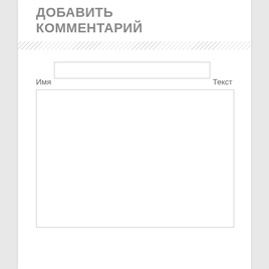ДОБАВИТЬ КОММЕНТАРИЙ
Имя
[Figure (screenshot): Empty text input field for name]
Текст
[Figure (screenshot): Empty textarea field for text/comment body]